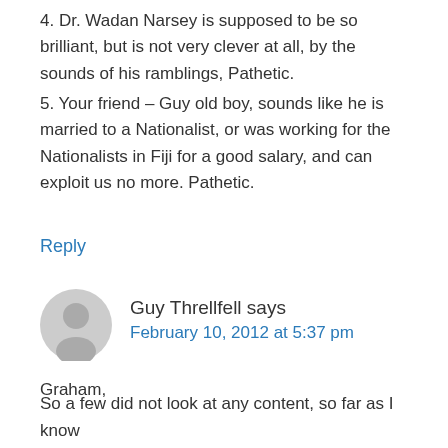4. Dr. Wadan Narsey is supposed to be so brilliant, but is not very clever at all, by the sounds of his ramblings, Pathetic.
5. Your friend – Guy old boy, sounds like he is married to a Nationalist, or was working for the Nationalists in Fiji for a good salary, and can exploit us no more. Pathetic.
Reply
[Figure (illustration): Generic grey user avatar icon — a silhouette of a person in a circle]
Guy Threllfell says
February 10, 2012 at 5:37 pm
Graham,
So a few did not look at any content, so far as I know